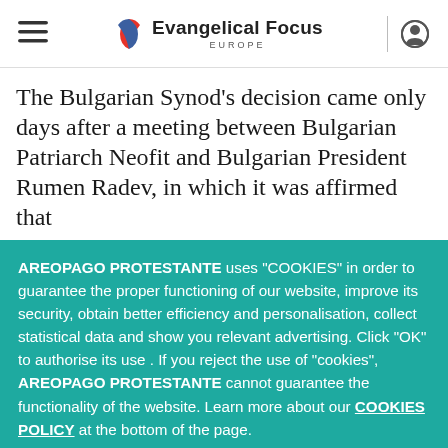Evangelical Focus EUROPE
The Bulgarian Synod's decision came only days after a meeting between Bulgarian Patriarch Neofit and Bulgarian President Rumen Radev, in which it was affirmed that
AREOPAGO PROTESTANTE uses “COOKIES” in order to guarantee the proper functioning of our website, improve its security, obtain better efficiency and personalisation, collect statistical data and show you relevant advertising. Click “OK” to authorise its use . If you reject the use of “cookies”, AREOPAGO PROTESTANTE cannot guarantee the functionality of the website. Learn more about our COOKIES POLICY at the bottom of the page.
Ok